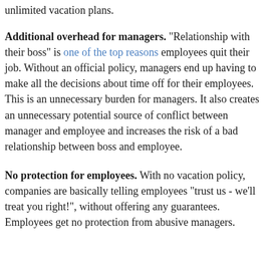unlimited vacation plans.
Additional overhead for managers. “Relationship with their boss” is one of the top reasons employees quit their job. Without an official policy, managers end up having to make all the decisions about time off for their employees. This is an unnecessary burden for managers. It also creates an unnecessary potential source of conflict between manager and employee and increases the risk of a bad relationship between boss and employee.
No protection for employees. With no vacation policy, companies are basically telling employees “trust us - we’ll treat you right!”, without offering any guarantees. Employees get no protection from abusive managers.